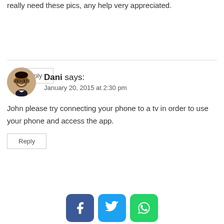really need these pics, any help very appreciated.
Reply
Dani says: January 20, 2015 at 2:30 pm
John please try connecting your phone to a tv in order to use your phone and access the app.
Reply
[Figure (other): Facebook, Twitter, and WhatsApp share buttons]